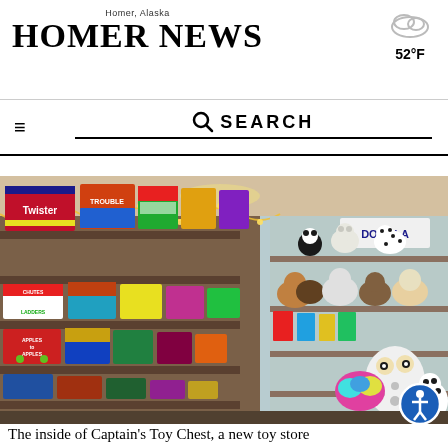Homer, Alaska — HOMER NEWS — 52°F
SEARCH
[Figure (photo): Interior of Captain's Toy Chest toy store showing shelves lined with board games including Twister, Chutes and Ladders, Apples to Apples, Trouble, and stuffed animals including bears, owls, and dalmatians. String lights run along the top of the shelves.]
The inside of Captain's Toy Chest, a new toy store